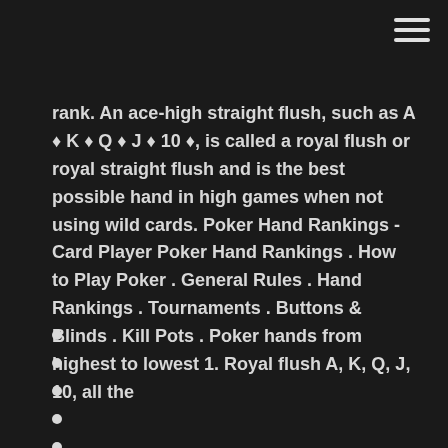hamburger menu icon
rank. An ace-high straight flush, such as A ♦ K ♦ Q ♦ J ♦ 10 ♦, is called a royal flush or royal straight flush and is the best possible hand in high games when not using wild cards. Poker Hand Rankings - Card Player Poker Hand Rankings . How to Play Poker . General Rules . Hand Rankings . Tournaments . Buttons & Blinds . Kill Pots . Poker hands from highest to lowest 1. Royal flush A, K, Q, J, 10, all the